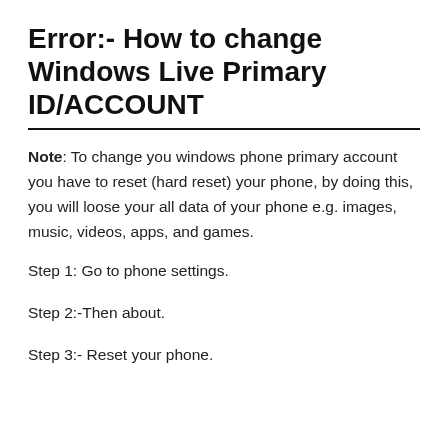Error:- How to change Windows Live Primary ID/ACCOUNT
Note: To change you windows phone primary account you have to reset (hard reset) your phone, by doing this, you will loose your all data of your phone e.g. images, music, videos, apps, and games.
Step 1: Go to phone settings.
Step 2:-Then about.
Step 3:- Reset your phone.